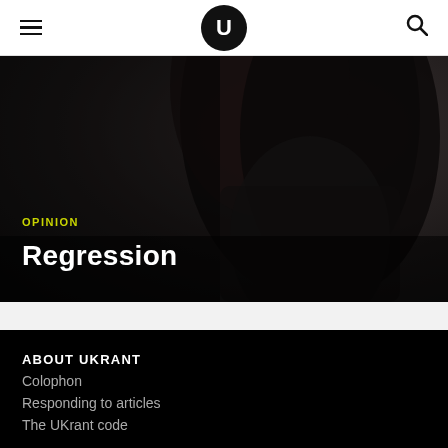UKrant navigation bar with hamburger menu, U logo, and search icon
[Figure (photo): Dark portrait photo of a person with long dark hair wearing a black outfit, hands clasped, against a dark background. Overlaid with OPINION category label and article title Regression.]
OPINION
Regression
ABOUT UKRANT
Colophon
Responding to articles
The UKrant code